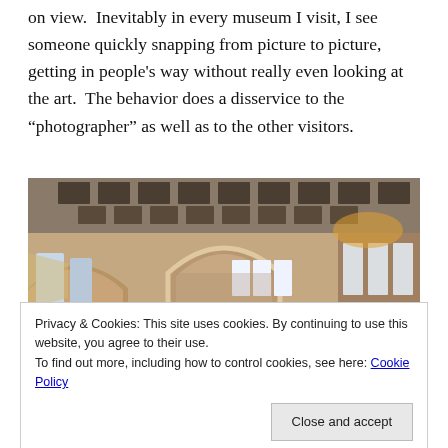on view.  Inevitably in every museum I visit, I see someone quickly snapping from picture to picture, getting in people’s way without really even looking at the art.  The behavior does a disservice to the “photographer” as well as to the other visitors.
[Figure (photo): Interior of a museum gallery showing arched ceilings and archways with warm tan/beige walls, natural light coming from windows on the left side, and illuminated rectangular light fixtures visible through the far arch.]
Privacy & Cookies: This site uses cookies. By continuing to use this website, you agree to their use.
To find out more, including how to control cookies, see here: Cookie Policy
Close and accept